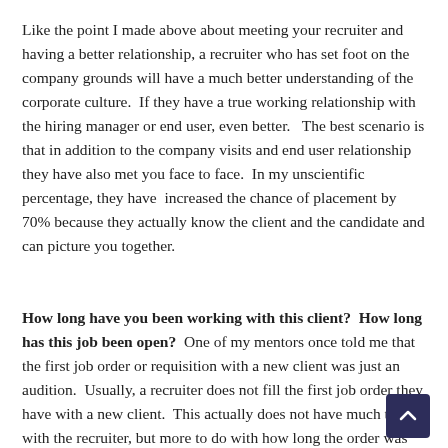Like the point I made above about meeting your recruiter and having a better relationship, a recruiter who has set foot on the company grounds will have a much better understanding of the corporate culture.  If they have a true working relationship with the hiring manager or end user, even better.   The best scenario is that in addition to the company visits and end user relationship they have also met you face to face.  In my unscientific percentage, they have  increased the chance of placement by 70% because they actually know the client and the candidate and can picture you together.
How long have you been working with this client?  How long has this job been open?  One of my mentors once told me that the first job order or requisition with a new client was just an audition.  Usually, a recruiter does not fill the first job order they have with a new client.  This actually does not have much to do with the recruiter, but more to do with how long the order was open